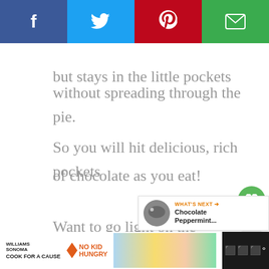[Figure (screenshot): Social share bar with four buttons: Facebook (dark blue), Twitter (light blue), Pinterest (red), Email (green), each showing the respective icon in white]
but stays in the little pockets without spreading through the pie.
So you will hit delicious, rich pockets of chocolate as you eat!
Want to go light on the chocolate?
Reduce the chocolate chips to...
[Figure (screenshot): What's Next overlay with circular food image thumbnail and text 'WHAT'S NEXT → Chocolate Peppermint...']
[Figure (screenshot): Bottom advertisement bar for Williams Sonoma No Kid Hungry Cook for a Cause campaign with colorful cookie images]